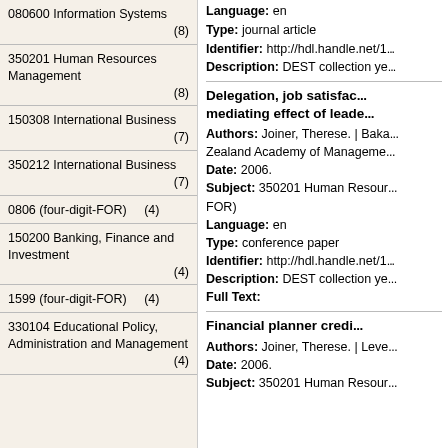080600 Information Systems (8)
350201 Human Resources Management (8)
150308 International Business (7)
350212 International Business (7)
0806 (four-digit-FOR) (4)
150200 Banking, Finance and Investment (4)
1599 (four-digit-FOR) (4)
330104 Educational Policy, Administration and Management (4)
Language: en
Type: journal article
Identifier: http://hdl.handle.net/1...
Description: DEST collection ye...
Delegation, job satisfac... mediating effect of leade...
Authors: Joiner, Therese. | Baka... Zealand Academy of Manageme...
Date: 2006.
Subject: 350201 Human Resour... FOR)
Language: en
Type: conference paper
Identifier: http://hdl.handle.net/1...
Description: DEST collection ye...
Full Text:
Financial planner credi...
Authors: Joiner, Therese. | Leve...
Date: 2006.
Subject: 350201 Human Resour...